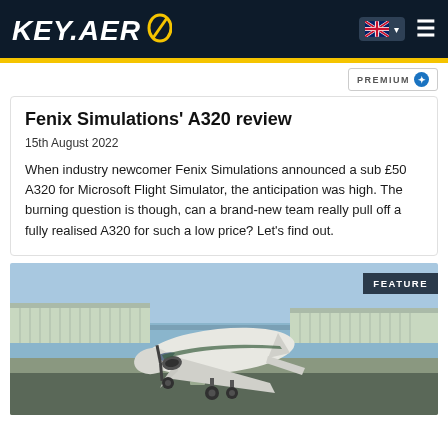KEY.AERO
PREMIUM
Fenix Simulations' A320 review
15th August 2022
When industry newcomer Fenix Simulations announced a sub £50 A320 for Microsoft Flight Simulator, the anticipation was high. The burning question is though, can a brand-new team really pull off a fully realised A320 for such a low price? Let's find out.
[Figure (photo): A small propeller aircraft (white with green trim) on a runway at an airport, with airport buildings visible in the background. A FEATURE badge is displayed in the top right corner.]